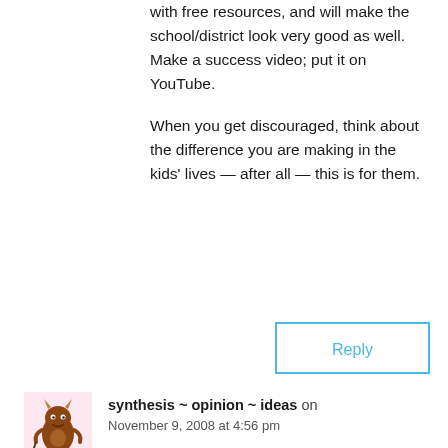with free resources, and will make the school/district look very good as well. Make a success video; put it on YouTube.
When you get discouraged, think about the difference you are making in the kids' lives — after all — this is for them.
Reply
[Figure (illustration): Small cartoon avatar of a brown monster/creature with green feet on a pink/white background]
synthesis ~ opinion ~ ideas on November 9, 2008 at 4:56 pm